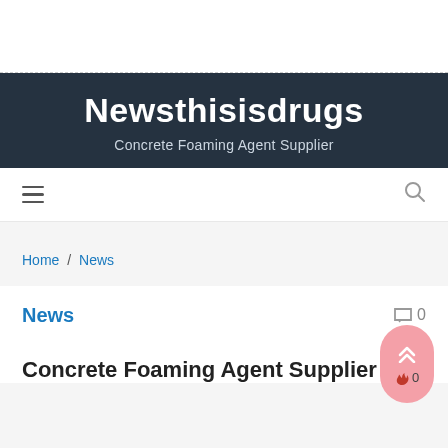Newsthisisdrugs
Concrete Foaming Agent Supplier
≡   🔍
Home / News
News
Concrete Foaming Agent Supplier